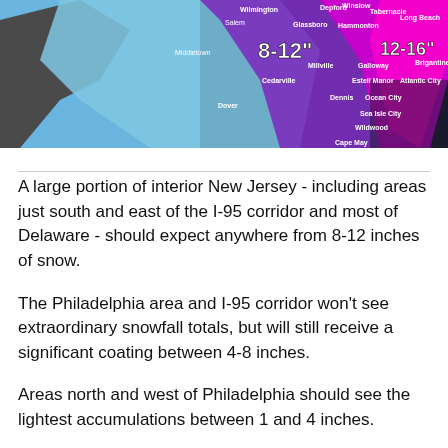[Figure (map): Weather snowfall forecast map showing New Jersey, Delaware, and surrounding areas with color-coded snow accumulation zones. Labels show '8-12"' in purple zone and '12-16"' in magenta/pink zone near the coast. Cities labeled include Wilmington, Salem, Glassboro, Winslow, Tabernacle, Long Beach, Hammonton, Galloway, Brigantine, Millville, Estell Manor, Atlantic City, Cedarville, Dennis, Ocean City, Dover, Sea Isle City, Wildwood, Cape May, Middletown.]
A large portion of interior New Jersey - including areas just south and east of the I-95 corridor and most of Delaware - should expect anywhere from 8-12 inches of snow.
The Philadelphia area and I-95 corridor won't see extraordinary snowfall totals, but will still receive a significant coating between 4-8 inches.
Areas north and west of Philadelphia should see the lightest accumulations between 1 and 4 inches.